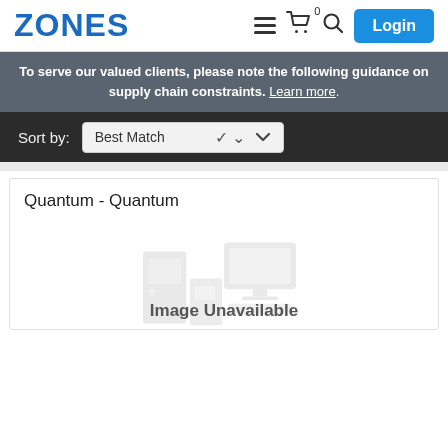ZONES
To serve our valued clients, please note the following guidance on supply chain constraints. Learn more.
Sort by: Best Match
Quantum - Quantum
[Figure (illustration): Image Unavailable placeholder showing a faded computer/monitor graphic with text 'Image Unavailable']